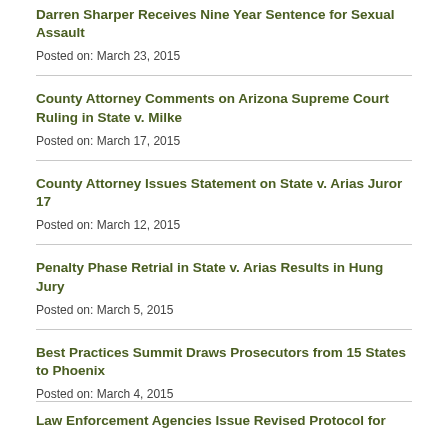Darren Sharper Receives Nine Year Sentence for Sexual Assault
Posted on: March 23, 2015
County Attorney Comments on Arizona Supreme Court Ruling in State v. Milke
Posted on: March 17, 2015
County Attorney Issues Statement on State v. Arias Juror 17
Posted on: March 12, 2015
Penalty Phase Retrial in State v. Arias Results in Hung Jury
Posted on: March 5, 2015
Best Practices Summit Draws Prosecutors from 15 States to Phoenix
Posted on: March 4, 2015
Law Enforcement Agencies Issue Revised Protocol for